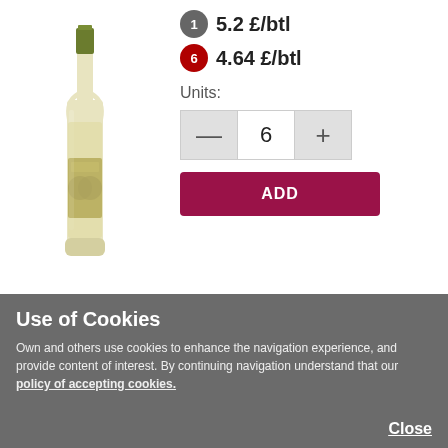[Figure (photo): A bottle of Viña Cimbron Verdejo white wine with a green cap and gold/olive label featuring circular design elements.]
1  5.2 £/btl
6  4.64 £/btl
Units:
— 6 +
ADD
Viña Cimbron Verdejo
0,75 L
Rueda
more info
Use of Cookies
Own and others use cookies to enhance the navigation experience, and provide content of interest. By continuing navigation understand that our policy of accepting cookies.
Close